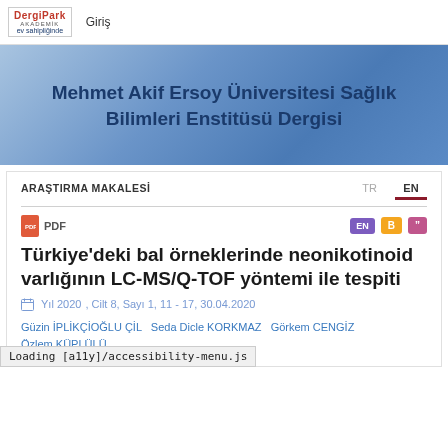DergiPark AKADEMİK ev sahipliğinde | Giriş
Mehmet Akif Ersoy Üniversitesi Sağlık Bilimleri Enstitüsü Dergisi
ARAŞTIRMA MAKALESİ
TR  EN
PDF
Türkiye'deki bal örneklerinde neonikotinoid varlığının LC-MS/Q-TOF yöntemi ile tespiti
Yıl 2020, Cilt 8, Sayı 1, 11 - 17, 30.04.2020
Güzin İPLİKÇİOĞLU ÇİL  Seda Dicle KORKMAZ  Görkem CENGİZ  Özlem KÜPLÜLÜ
Loading [a11y]/accessibility-menu.js